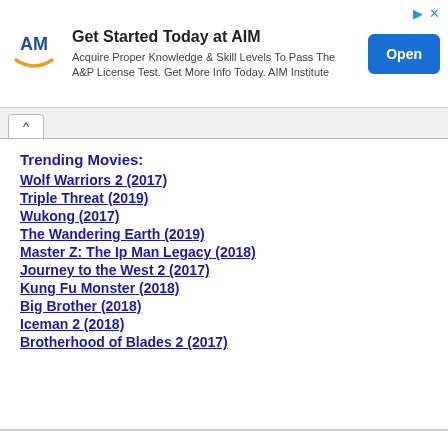[Figure (other): Advertisement banner for AIM Institute with logo, text 'Get Started Today at AIM', description about A&P License Test, and Open button]
Trending Movies:
Wolf Warriors 2 (2017)
Triple Threat (2019)
Wukong (2017)
The Wandering Earth (2019)
Master Z: The Ip Man Legacy (2018)
Journey to the West 2 (2017)
Kung Fu Monster (2018)
Big Brother (2018)
Iceman 2 (2018)
Brotherhood of Blades 2 (2017)